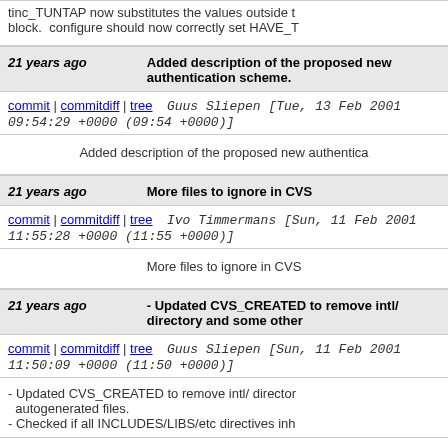tinc_TUNTAP now substitutes the values outside the block.  configure should now correctly set HAVE_T
21 years ago   Added description of the proposed new authentication scheme.
commit | commitdiff | tree   Guus Sliepen [Tue, 13 Feb 2001 09:54:29 +0000 (09:54 +0000)]
Added description of the proposed new authentica
21 years ago   More files to ignore in CVS
commit | commitdiff | tree   Ivo Timmermans [Sun, 11 Feb 2001 11:55:28 +0000 (11:55 +0000)]
More files to ignore in CVS
21 years ago   - Updated CVS_CREATED to remove intl/ directory and some other
commit | commitdiff | tree   Guus Sliepen [Sun, 11 Feb 2001 11:50:09 +0000 (11:50 +0000)]
- Updated CVS_CREATED to remove intl/ directory and autogenerated files.
- Checked if all INCLUDES/LIBS/etc directives inh